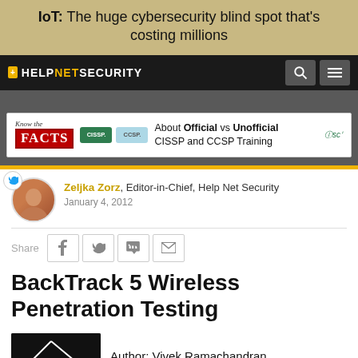IoT: The huge cybersecurity blind spot that's costing millions
[Figure (screenshot): Help Net Security navigation bar with logo, search icon, and menu icon on dark background]
[Figure (screenshot): Advertisement banner: Know the FACTS - About Official vs Unofficial CISSP and CCSP Training by ISC2]
Zeljka Zorz, Editor-in-Chief, Help Net Security
January 4, 2012
Share
BackTrack 5 Wireless Penetration Testing
Author: Vivek Ramachandran